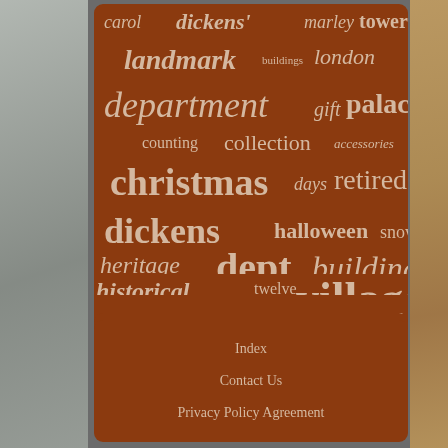[Figure (infographic): A word/tag cloud on a dark reddish-brown background featuring terms related to Dickens village collectibles: carol, dickens', marley, tower, landmark, buildings, london, department, gift, palace, counting, collection, accessories, christmas, days, retired, dickens, halloween, snow, heritage, dept, building, historical, twelve, village, display]
Index
Contact Us
Privacy Policy Agreement